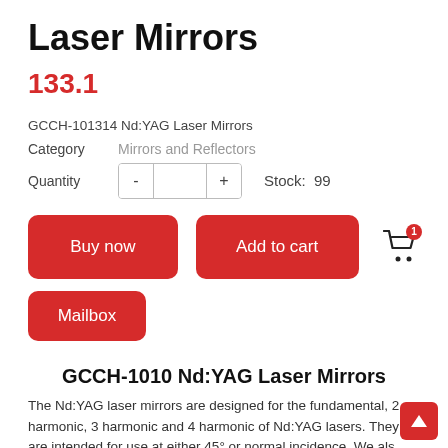Laser Mirrors
133.1
GCCH-101314 Nd:YAG Laser Mirrors
Category    Mirrors and Reflectors
Quantity    -  +    Stock:  99
Buy now
Add to cart
Mailbox
GCCH-1010 Nd:YAG Laser Mirrors
The Nd:YAG laser mirrors are designed for the fundamental, 2 harmonic, 3 harmonic and 4 harmonic of Nd:YAG lasers. They are intended for use at either 45° or normal incidence. We als